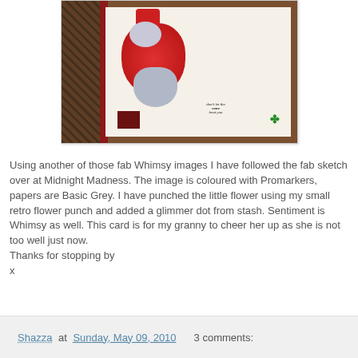[Figure (photo): A handmade greeting card featuring a cat illustrated image wearing a red cape and hat, mounted on patterned and dark red papers on a wooden background.]
Using another of those fab Whimsy images I have followed the fab sketch over at Midnight Madness. The image is coloured with Promarkers, papers are Basic Grey. I have punched the little flower using my small retro flower punch and added a glimmer dot from stash. Sentiment is Whimsy as well. This card is for my granny to cheer her up as she is not too well just now.
Thanks for stopping by
x
Shazza at Sunday, May 09, 2010   3 comments: